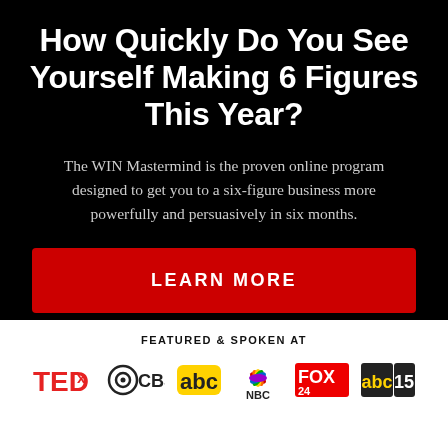How Quickly Do You See Yourself Making 6 Figures This Year?
The WIN Mastermind is the proven online program designed to get you to a six-figure business more powerfully and persuasively in six months.
LEARN MORE
FEATURED & SPOKEN AT
[Figure (logo): Media logos row: TEDx, CBS, abc, NBC, FOX 24, abc 15]